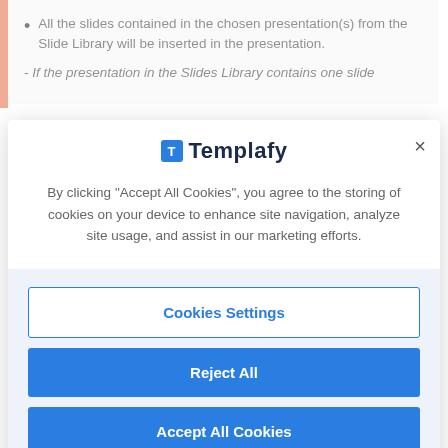All the slides contained in the chosen presentation(s) from the Slide Library will be inserted in the presentation.
- If the presentation in the Slides Library contains one slide
[Figure (screenshot): Cookie consent modal dialog from Templafy website, showing logo, consent message, and three buttons: Cookies Settings, Reject All, Accept All Cookies]